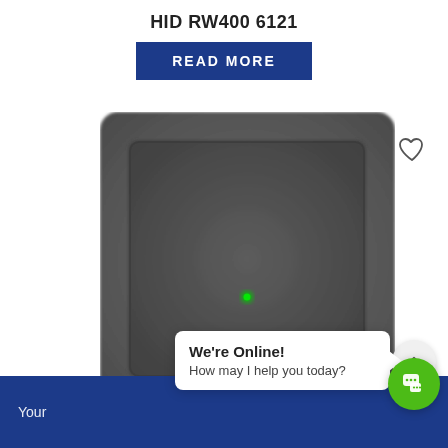HID RW400 6121
READ MORE
[Figure (photo): HID RW400 6121 product photo — a dark grey rectangular card reader/writer device with rounded corners, a recessed inner panel, and a small green LED indicator dot in the center.]
We're Online! How may I help you today?
Your